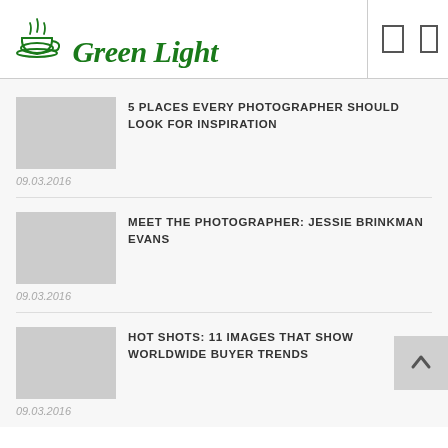[Figure (logo): Green Light logo with a steaming coffee cup icon in green and cursive 'Green Light' text in dark green]
5 PLACES EVERY PHOTOGRAPHER SHOULD LOOK FOR INSPIRATION
09.03.2016
MEET THE PHOTOGRAPHER: JESSIE BRINKMAN EVANS
09.03.2016
HOT SHOTS: 11 IMAGES THAT SHOW WORLDWIDE BUYER TRENDS
09.03.2016